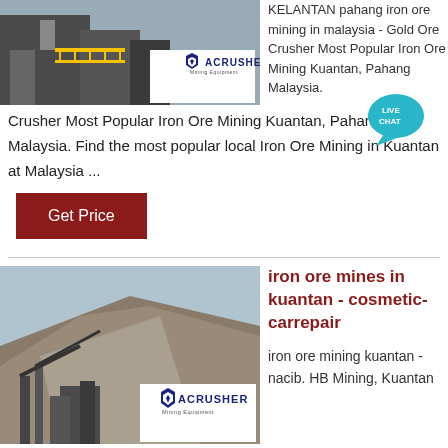[Figure (photo): Mining/crusher equipment photo with Acrusher Mining Equipment logo overlay]
KELANTAN pahang iron ore mining in malaysia - Gold Ore Crusher Most Popular Iron Ore Mining Kuantan, Pahang Malaysia. Find the most popular local Iron Ore Mining in Kuantan at Malaysia ...
[Figure (logo): LIVE CHAT speech bubble badge]
Get Price
[Figure (photo): Open pit mining facility with Acrusher Mining Equipment logo overlay]
iron ore mines in kuantan - cosmetic-carrepair
iron ore mining kuantan - nacib. HB Mining, Kuantan